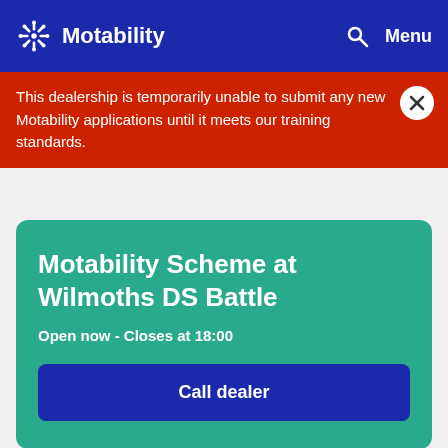Motability  Menu
This dealership is temporarily unable to submit any new Motability applications until it meets our training standards.
Motability Scheme at Wilmoths DS Battle
Open now - Closes at 18:00
Call dealer